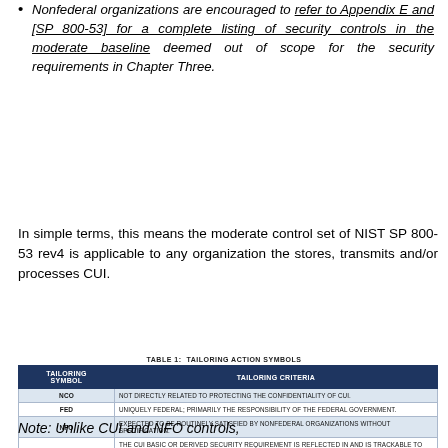Nonfederal organizations are encouraged to refer to Appendix E and [SP 800-53] for a complete listing of security controls in the moderate baseline deemed out of scope for the security requirements in Chapter Three.
In simple terms, this means the moderate control set of NIST SP 800-53 rev4 is applicable to any organization the stores, transmits and/or processes CUI.
TABLE 1: TAILORING ACTION SYMBOLS
| TAILORING SYMBOL | TAILORING CRITERIA |
| --- | --- |
| NCO | NOT DIRECTLY RELATED TO PROTECTING THE CONFIDENTIALITY OF CUI. |
| FED | UNIQUELY FEDERAL; PRIMARILY THE RESPONSIBILITY OF THE FEDERAL GOVERNMENT. |
| NFO | EXPECTED TO BE ROUTINELY SATISFIED BY NONFEDERAL ORGANIZATIONS WITHOUT SPECIFICATION. |
| CUI | THE CUI BASIC OR DERIVED SECURITY REQUIREMENT IS REFLECTED IN AND IS TRACKABLE TO THE SECURITY CONTROL, CONTROL ENHANCEMENT, OR SPECIFIC ELEMENTS OF THE CONTROL/ENHANCEMENT. |
Note: Unlike CUI and NFO controls,